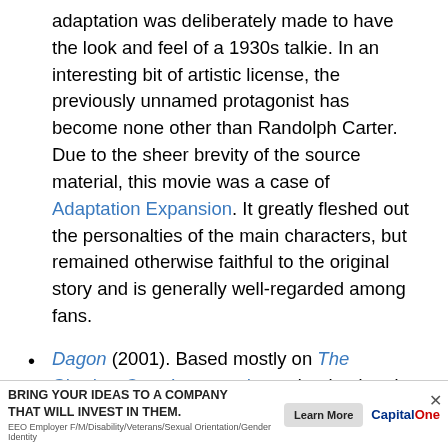adaptation was deliberately made to have the look and feel of a 1930s talkie. In an interesting bit of artistic license, the previously unnamed protagonist has become none other than Randolph Carter. Due to the sheer brevity of the source material, this movie was a case of Adaptation Expansion. It greatly fleshed out the personalties of the main characters, but remained otherwise faithful to the original story and is generally well-regarded among fans.
Dagon (2001). Based mostly on The Shadow Over Innsmouth, modernized and moved to Spain, so the town of Innsmouth becomes Imboca. The Deep Ones are more octopodean than piscine, possibly as a concession to popular perception of Lovecraft's mythos. Moreover, the movie features a summoning of "Dagon" (as a tentacled toothy, octopoid monster, not as a giant Deep One) as
[Figure (other): Capital One advertisement banner: 'BRING YOUR IDEAS TO A COMPANY THAT WILL INVEST IN THEM.' with a Learn More button and Capital One branding. EEO Employer F/M/Disability/Veterans/Sexual Orientation/Gender Identity text at bottom.]